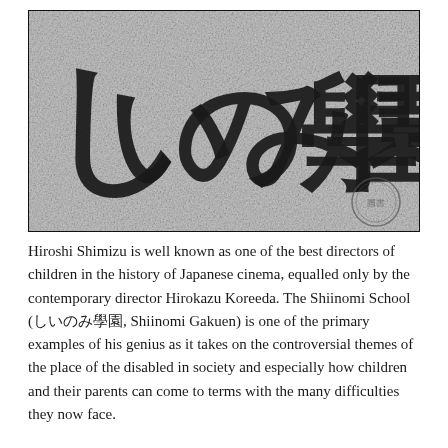[Figure (photo): Black and white image of Japanese calligraphy text reading 'しいのみ學園' (Shiinomi Gakuen) on a textured grey background, with a circular stamp/seal visible in the lower right.]
Hiroshi Shimizu is well known as one of the best directors of children in the history of Japanese cinema, equalled only by the contemporary director Hirokazu Koreeda. The Shiinomi School (しいのみ學園, Shiinomi Gakuen) is one of the primary examples of his genius as it takes on the controversial themes of the place of the disabled in society and especially how children and their parents can come to terms with the many difficulties they now face.
The Yamamotos are a happy family with two sons. However, their